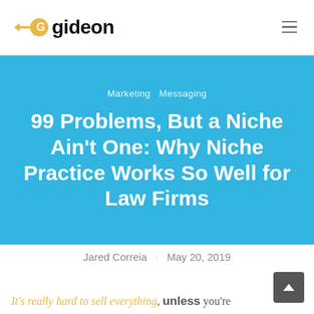gideon
Marketing  Messaging
99 Problems, But a Niche Ain't One: Why Niche Practice Works So Well for Law Firms
Jared Correia · May 20, 2019
It's really hard to sell everything, unless you're